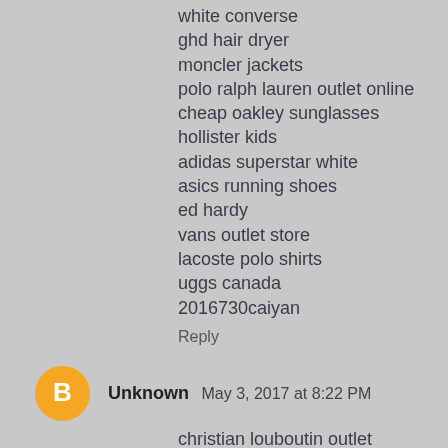white converse
ghd hair dryer
moncler jackets
polo ralph lauren outlet online
cheap oakley sunglasses
hollister kids
adidas superstar white
asics running shoes
ed hardy
vans outlet store
lacoste polo shirts
uggs canada
2016730caiyan
Reply
Unknown  May 3, 2017 at 8:22 PM
christian louboutin outlet
coach wallets
christian louboutin sale
hermes handbags